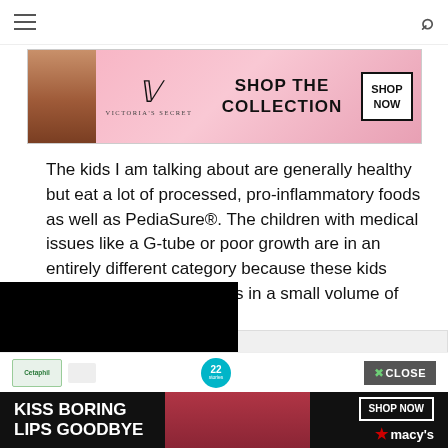[Figure (screenshot): Victoria's Secret banner advertisement with model, VS logo, 'SHOP THE COLLECTION' text, and 'SHOP NOW' button]
The kids I am talking about are generally healthy but eat a lot of processed, pro-inflammatory foods as well as PediaSure®. The children with medical issues like a G-tube or poor growth are in an entirely different category because these kids need high-density calories in a small volume of liquid. I wrote a post on
ureed whole foods  for these
[Figure (screenshot): Black video player overlay covering left portion of screen]
[Figure (screenshot): Gray advertisement placeholder box on right side]
[Figure (screenshot): Bottom strip with Cetaphil logo, circular 22 icon, and CLOSE button]
[Figure (screenshot): Macy's banner advertisement: KISS BORING LIPS GOODBYE, SHOP NOW button, macy's star logo]